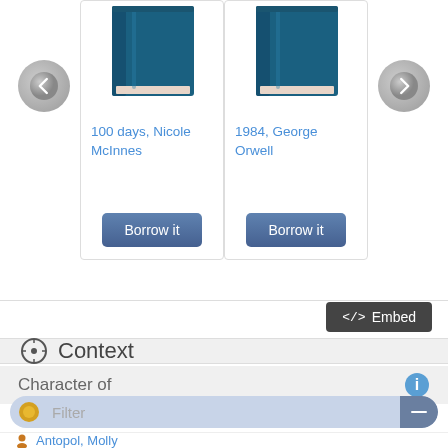[Figure (screenshot): Library book carousel showing two book cards: '100 days, Nicole McInnes' and '1984, George Orwell', each with a teal book cover illustration and a 'Borrow it' button, with left and right navigation arrows]
100 days, Nicole McInnes
1984, George Orwell
[Figure (screenshot): Embed button with code brackets icon, dark background, reading '</ > Embed']
Context
Character of
Filter
Antopol, Molly